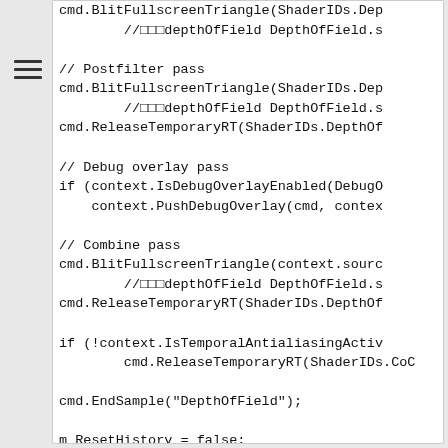[Figure (other): Hamburger menu icon (three horizontal lines)]
cmd.BlitFullscreenTriangle(ShaderIDs.Dep
        //□□□depthOfField DepthOfField.s

// Postfilter pass
cmd.BlitFullscreenTriangle(ShaderIDs.Dep
        //□□□depthOfField DepthOfField.s
cmd.ReleaseTemporaryRT(ShaderIDs.DepthOf

// Debug overlay pass
if (context.IsDebugOverlayEnabled(DebugO
    context.PushDebugOverlay(cmd, contex

// Combine pass
cmd.BlitFullscreenTriangle(context.sourc
        //□□□depthOfField DepthOfField.s
cmd.ReleaseTemporaryRT(ShaderIDs.DepthOf

if (!context.IsTemporalAntialiasingActiv
        cmd.ReleaseTemporaryRT(ShaderIDs.CoC

cmd.EndSample("DepthOfField");

m_ResetHistory = false;
}